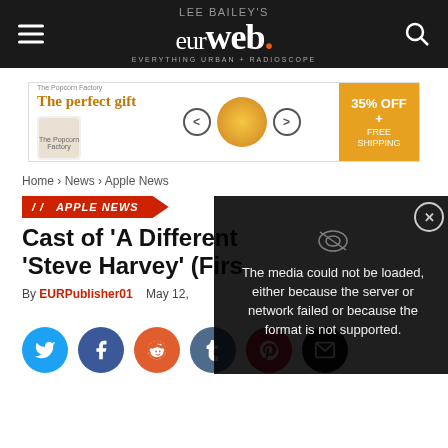LEE BAILEY'S eurweb EVERYTHING URBAN + RADIOSCOPE
[Figure (infographic): Advertisement banner: 'The perfect gift' with food product image, arrows navigation, and '35% OFF + FREE SHIPPING' orange button]
Home › News › Apple News
APPLE NEWS
Cast of 'A Different 'Steve Harvey' (Firs
By EURPublisher01  May 12,
[Figure (screenshot): Video player error overlay: 'The media could not be loaded, either because the server or network failed or because the format is not supported.' with close X button]
[Figure (infographic): Social sharing buttons row: Twitter (blue), Facebook (dark blue), Reddit (orange), Tumblr (steel blue), Pinterest (red), Email (black)]